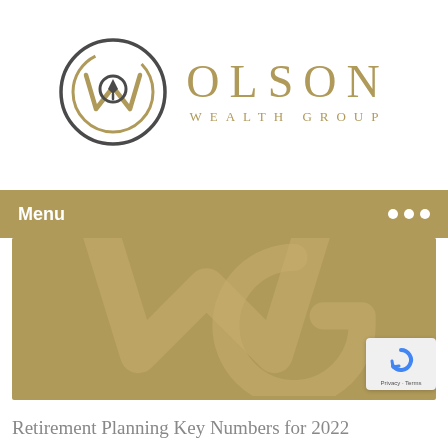[Figure (logo): Olson Wealth Group logo: circular OWG emblem in dark gray and gold, with OLSON in large gold spaced letters and WEALTH GROUP in smaller gold spaced letters below]
Menu
[Figure (illustration): Gold hero banner with large watermark OWG letters in a lighter gold tone]
Retirement Planning Key Numbers for 2022